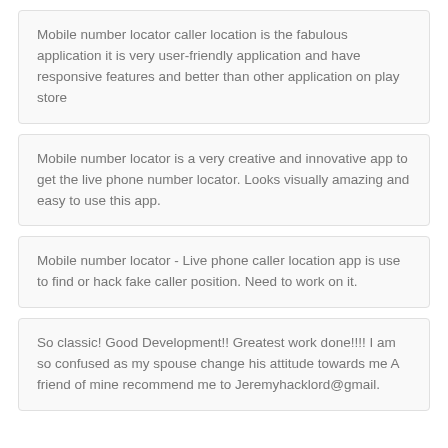Mobile number locator caller location is the fabulous application it is very user-friendly application and have responsive features and better than other application on play store
Mobile number locator is a very creative and innovative app to get the live phone number locator. Looks visually amazing and easy to use this app.
Mobile number locator - Live phone caller location app is use to find or hack fake caller position. Need to work on it.
So classic! Good Development!! Greatest work done!!!! I am so confused as my spouse change his attitude towards me A friend of mine recommend me to Jeremyhacklord@gmail.